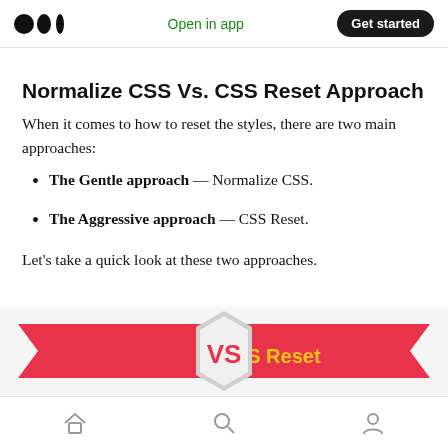Open in app | Get started
Normalize CSS Vs. CSS Reset Approach
When it comes to how to reset the styles, there are two main approaches:
The Gentle approach — Normalize CSS.
The Aggressive approach — CSS Reset.
Let's take a quick look at these two approaches.
[Figure (infographic): Two red arrow banners facing each other with a hexagon in the center. Left banner reads 'Normalize CSS' in yellow bold text, right banner reads 'CSS Reset' in yellow bold text, center hexagon reads 'VS' in large red bold text on white background.]
Home | Search | Profile